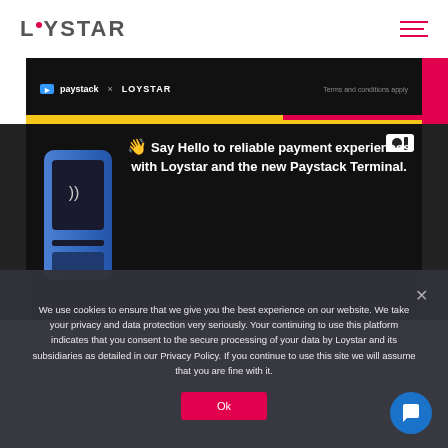LOYSTAR
[Figure (screenshot): Dark promotional banner with paystack x LOYSTAR branding and 'Terms and conditions apply' text, with yellow and pink accent bars]
[Figure (screenshot): Dark banner with POS payment terminal device on left and text: 'Say Hello to reliable payment experiences with Loystar and the new Paystack Terminal.' with camera/record icon top right]
We use cookies to ensure that we give you the best experience on our website. We take your privacy and data protection very seriously. Your continuing to use this platform indicates that you consent to the secure processing of your data by Loystar and its subsidiaries as detailed in our Privacy Policy. If you continue to use this site we will assume that you are fine with it.
Ok